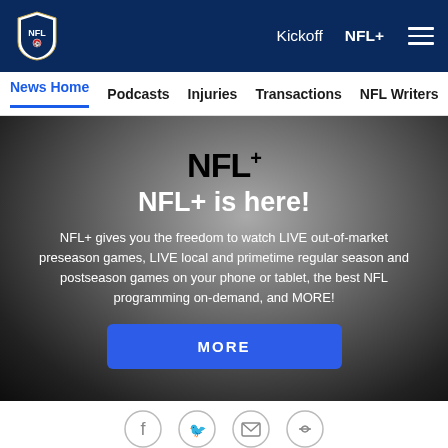NFL logo | Kickoff  NFL+  ☰
News Home  Podcasts  Injuries  Transactions  NFL Writers  Se...
[Figure (screenshot): NFL+ promotional banner with dark gradient background showing the NFL+ logo, headline 'NFL+ is here!', descriptive text about live streaming features, and a blue MORE button]
NFL+ is here!
NFL+ gives you the freedom to watch LIVE out-of-market preseason games, LIVE local and primetime regular season and postseason games on your phone or tablet, the best NFL programming on-demand, and MORE!
[Figure (other): Social sharing icons: Facebook, Twitter, Email, Link]